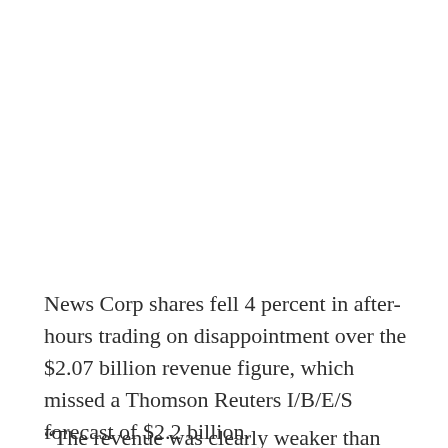News Corp shares fell 4 percent in after-hours trading on disappointment over the $2.07 billion revenue figure, which missed a Thomson Reuters I/B/E/S forecast of $2.2 billion.
“The revenue was clearly weaker than expected,” said